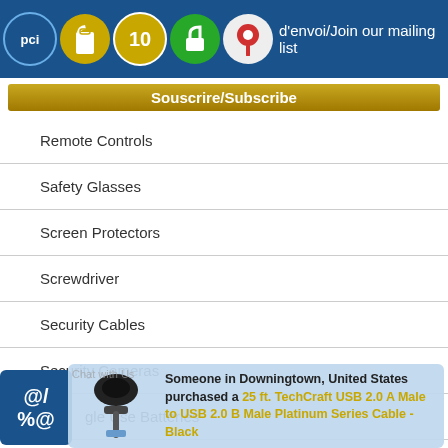d'envoi/Join our mailing list
Souscrire/Subscribe
Remote Controls
Safety Glasses
Screen Protectors
Screwdriver
Security Cables
Security Cameras
Single Use Batteries
Software
Solid State Drives
Sound Cards (External)
[Figure (screenshot): Chat with Us overlay and purchase notification: Someone in Downingtown, United States purchased a 25 ft. TechCraft USB 2.0 A Male to USB 2.0 B Male Platinum Series Cable - Black]
Someone in Downingtown, United States purchased a 25 ft. TechCraft USB 2.0 A Male to USB 2.0 B Male Platinum Series Cable - Black